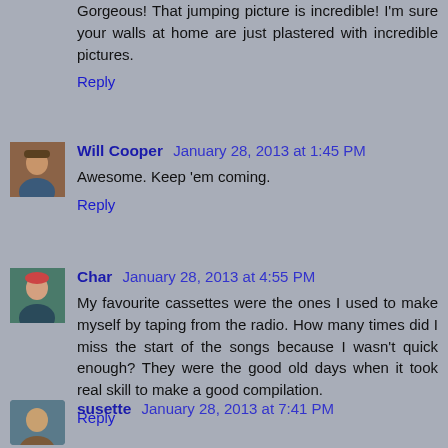Gorgeous! That jumping picture is incredible! I'm sure your walls at home are just plastered with incredible pictures.
Reply
Will Cooper  January 28, 2013 at 1:45 PM
Awesome. Keep 'em coming.
Reply
Char  January 28, 2013 at 4:55 PM
My favourite cassettes were the ones I used to make myself by taping from the radio. How many times did I miss the start of the songs because I wasn't quick enough? They were the good old days when it took real skill to make a good compilation.
Reply
susette  January 28, 2013 at 7:41 PM